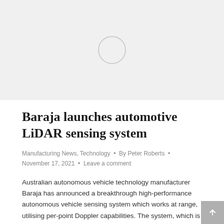[Figure (photo): Loading image placeholder with a circular spinner on a light gray background]
Baraja launches automotive LiDAR sensing system
Manufacturing News, Technology • By Peter Roberts • November 17, 2021 • Leave a comment
Australian autonomous vehicle technology manufacturer Baraja has announced a breakthrough high-performance autonomous vehicle sensing system which works at range, utilising per-point Doppler capabilities. The system, which is available to manufacturers to test in 2022 and is designed for